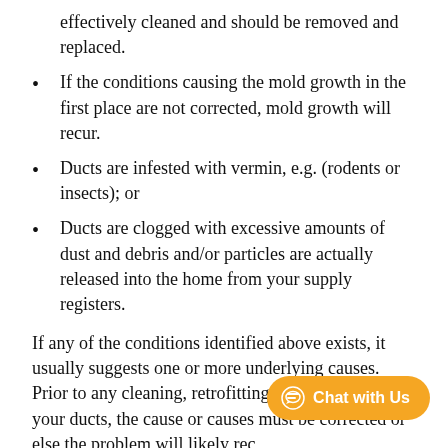effectively cleaned and should be removed and replaced.
If the conditions causing the mold growth in the first place are not corrected, mold growth will recur.
Ducts are infested with vermin, e.g. (rodents or insects); or
Ducts are clogged with excessive amounts of dust and debris and/or particles are actually released into the home from your supply registers.
If any of the conditions identified above exists, it usually suggests one or more underlying causes. Prior to any cleaning, retrofitting, or replacing of your ducts, the cause or causes must be corrected or else the problem will likely rec...
Some research suggests that cleaning heating and